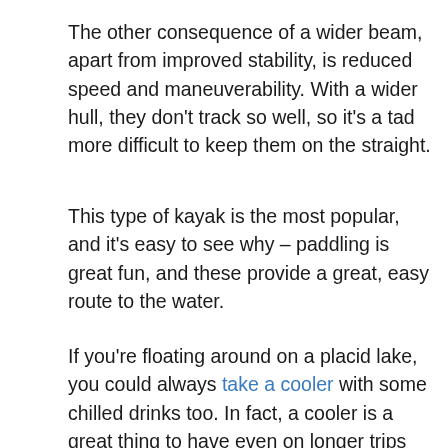The other consequence of a wider beam, apart from improved stability, is reduced speed and maneuverability. With a wider hull, they don't track so well, so it's a tad more difficult to keep them on the straight.
This type of kayak is the most popular, and it's easy to see why – paddling is great fun, and these provide a great, easy route to the water.
If you're floating around on a placid lake, you could always take a cooler with some chilled drinks too. In fact, a cooler is a great thing to have even on longer trips